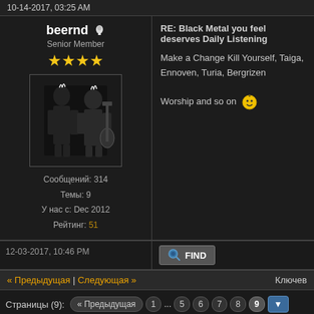10-14-2017, 03:25 AM
beernd
Senior Member
Сообщений: 314
Темы: 9
У нас с: Dec 2012
Рейтинг: 51
RE: Black Metal you feel deserves Daily Listening
Make a Change Kill Yourself, Taiga, Ennoven, Turia, Bergrizenˌ Worship and so on
12-03-2017, 10:46 PM
FIND
« Предыдущая | Следующая » Ключев
Страницы (9): « Предыдущая 1 ... 5 6 7 8 9
Версия для просмотра
Подписаться на тему
Переход: -- Metal music forums  Выполнить
Пользователи просматривают эту тему: 1 Гость(ей)